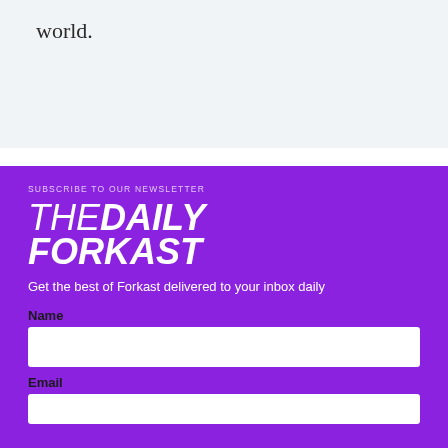world.
SUBSCRIBE TO OUR NEWSLETTER
THE DAILY FORKAST
Get the best of Forkast delivered to your inbox daily
Name
Email